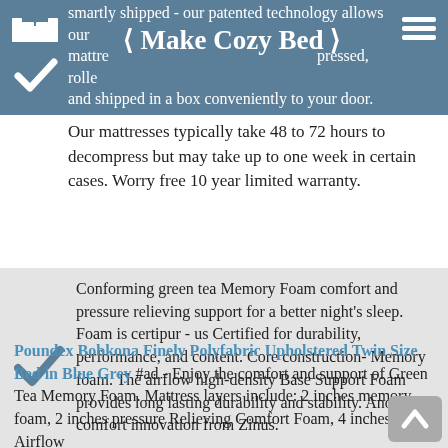Make Cozy Bed
smartly shipped - our patented technology allows our mattresses to be compressed, rolled and shipped in a box conveniently to your door. Our mattresses typically take 48 to 72 hours to decompress but may take up to one week in certain cases. Worry free 10 year limited warranty.
Conforming green tea Memory Foam comfort and pressure relieving support for a better night's sleep. Foam is certipur - us Certified for durability, performance, and content. Core construction- Memory foam. The airflow high-density Base Support Foam provides long lasting durability and stability. Another comfort innovation from Zinus.
Poundex Bobkona Finely Polyfabric Upholstered Twin Size Bed in Blue Grey #ad - Enjoy the comfort and support of Green Tea Memory Foam. Mattress layers include: 2 inches memory foam, 2 inches pressure Relieving Comfort Foam, 4 inches Airflow